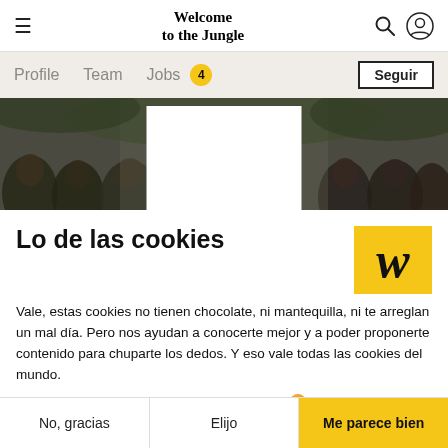Welcome to the Jungle
Profile  Team  Jobs 4  Seguir
[Figure (photo): Group photo of people / team members outdoors, with a white rectangle overlay in the center top area]
Lo de las cookies
Vale, estas cookies no tienen chocolate, ni mantequilla, ni te arreglan un mal día. Pero nos ayudan a conocerte mejor y a poder proponerte contenido para chuparte los dedos. Y eso vale todas las cookies del mundo.
Los consentimientos certificados por axeptio
No, gracias  Elijo  Me parece bien